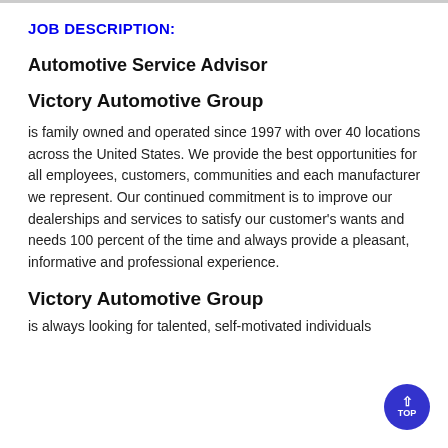JOB DESCRIPTION:
Automotive Service Advisor
Victory Automotive Group
is family owned and operated since 1997 with over 40 locations across the United States. We provide the best opportunities for all employees, customers, communities and each manufacturer we represent. Our continued commitment is to improve our dealerships and services to satisfy our customer's wants and needs 100 percent of the time and always provide a pleasant, informative and professional experience.
Victory Automotive Group
is always looking for talented, self-motivated individuals